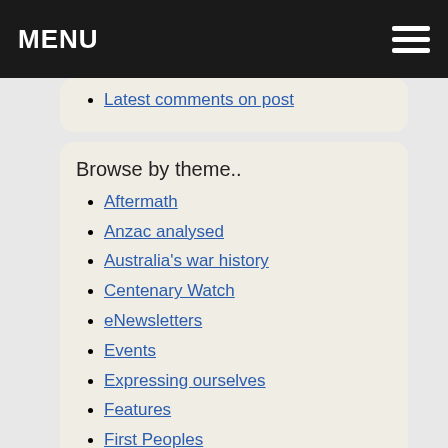MENU
Latest comments on post
Browse by theme..
Aftermath
Anzac analysed
Australia's war history
Centenary Watch
eNewsletters
Events
Expressing ourselves
Features
First Peoples
Getting on